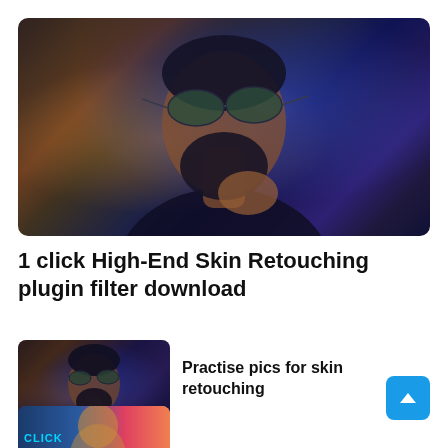[Figure (photo): Portrait photo of a bearded man with round green tinted sunglasses, illuminated by blue and warm amber lighting, dark background, hand raised near chin, wearing dark jacket.]
1 click High-End Skin Retouching plugin filter download
[Figure (photo): Smaller thumbnail of the same bearded man portrait with blue and amber lighting.]
Practise pics for skin retouching
[Figure (photo): Partially visible bottom thumbnail with cyan CLICK label text overlay.]